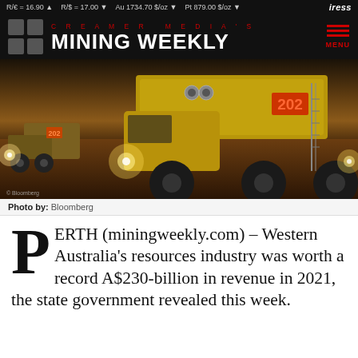R/€ = 16.90 ▲   R/$ = 17.00 ▼   Au 1734.70 $/oz ▼   Pt 879.00 $/oz ▼   iress
[Figure (logo): Creamer Media's Mining Weekly logo with grid icon, white and red on black background, with hamburger menu and MENU label in red on right]
[Figure (photo): Large yellow mining haul trucks operating at dusk/night with headlights on, number 202 visible on LED display, Bloomberg copyright watermark in bottom left]
Photo by: Bloomberg
PERTH (miningweekly.com) – Western Australia's resources industry was worth a record A$230-billion in revenue in 2021, the state government revealed this week.